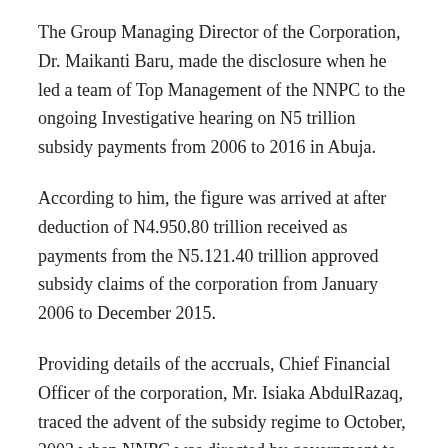The Group Managing Director of the Corporation, Dr. Maikanti Baru, made the disclosure when he led a team of Top Management of the NNPC to the ongoing Investigative hearing on N5 trillion subsidy payments from 2006 to 2016 in Abuja.
According to him, the figure was arrived at after deduction of N4.950.80 trillion received as payments from the N5.121.40 trillion approved subsidy claims of the corporation from January 2006 to December 2015.
Providing details of the accruals, Chief Financial Officer of the corporation, Mr. Isiaka AbdulRazaq, traced the advent of the subsidy regime to October, 2003 when NNPC was directed by government to commence the purchase of domestic crude oil at international market price without a corresponding liberalization of the regulated price of petroleum products.